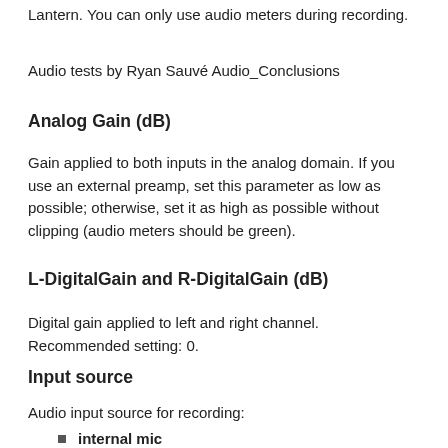Lantern. You can only use audio meters during recording.
Audio tests by Ryan Sauvé Audio_Conclusions
Analog Gain (dB)
Gain applied to both inputs in the analog domain. If you use an external preamp, set this parameter as low as possible; otherwise, set it as high as possible without clipping (audio meters should be green).
L-DigitalGain and R-DigitalGain (dB)
Digital gain applied to left and right channel. Recommended setting: 0.
Input source
Audio input source for recording:
internal mic